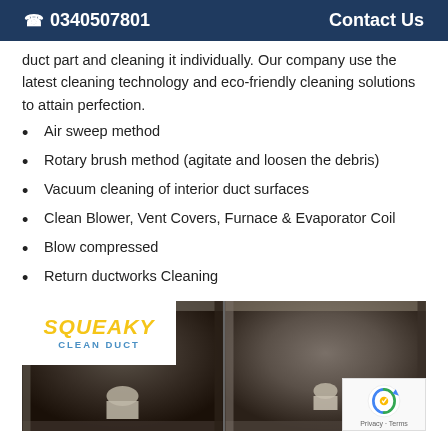☎ 0340507801   Contact Us
duct part and cleaning it individually. Our company use the latest cleaning technology and eco-friendly cleaning solutions to attain perfection.
Air sweep method
Rotary brush method (agitate and loosen the debris)
Vacuum cleaning of interior duct surfaces
Clean Blower, Vent Covers, Furnace & Evaporator Coil
Blow compressed
Return ductworks Cleaning
[Figure (photo): Before and after comparison photos of dirty air duct interiors, with Squeaky Clean Duct logo overlay in top left]